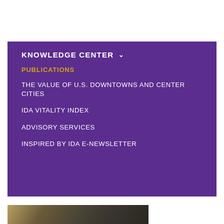KNOWLEDGE CENTER
PUBLICATIONS
THE VALUE OF U.S. DOWNTOWNS AND CENTER CITIES
IDA VITALITY INDEX
ADVISORY SERVICES
INSPIRED BY IDA E-NEWSLETTER
[Figure (photo): Street-level photo of an urban downtown area showing buildings and storefronts, partially visible at the bottom of the page]